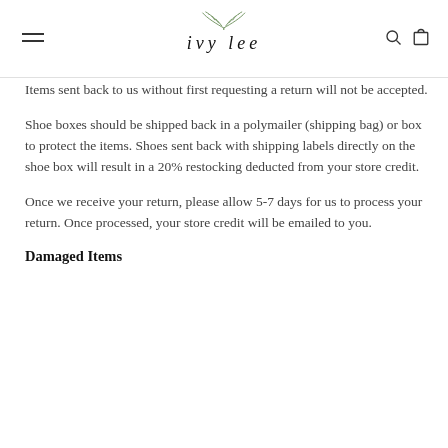ivy lee
Items sent back to us without first requesting a return will not be accepted.
Shoe boxes should be shipped back in a polymailer (shipping bag) or box to protect the items. Shoes sent back with shipping labels directly on the shoe box will result in a 20% restocking deducted from your store credit.
Once we receive your return, please allow 5-7 days for us to process your return. Once processed, your store credit will be emailed to you.
Damaged Items